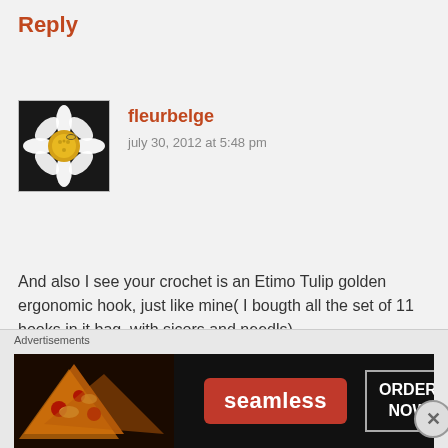Reply
fleurbelge
july 30, 2012 at 5:48 pm
And also I see your crochet is an Etimo Tulip golden ergonomic hook, just like mine( I bougth all the set of 11 hooks in it bag ,with sicors and needls).
FleurBelge
★ Like
Reply
Advertisements
[Figure (infographic): Seamless food delivery advertisement banner with pizza image, red 'seamless' logo, and 'ORDER NOW' button]